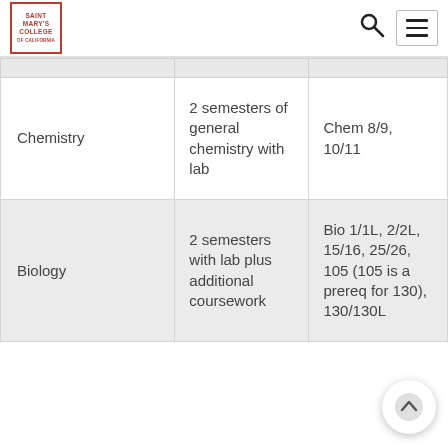Saint Mary's College of California
|  |  |  |
| --- | --- | --- |
| Chemistry | 2 semesters of general chemistry with lab | Chem 8/9, 10/11 |
| Biology | 2 semesters with lab plus additional coursework | Bio 1/1L, 2/2L, 15/16, 25/26, 105 (105 is a prereq for 130), 130/130L |